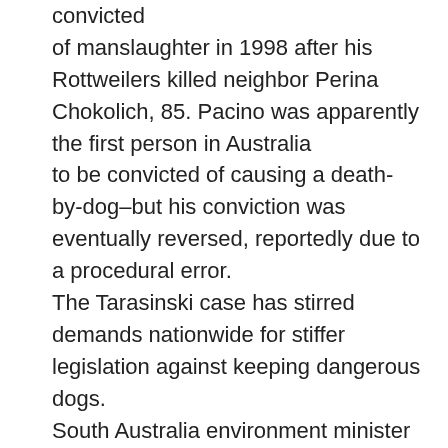convicted of manslaughter in 1998 after his Rottweilers killed neighbor Perina Chokolich, 85. Pacino was apparently the first person in Australia to be convicted of causing a death-by-dog–but his conviction was eventually reversed, reportedly due to a procedural error. The Tarasinski case has stirred demands nationwide for stiffer legislation against keeping dangerous dogs. South Australia environment minister John Hill noted on April 19 that in Adelaide alone, a city of about one million people, 6,500 people seek treatment for dog bites each year. About 250 children under age 12 are hospitalized each year for